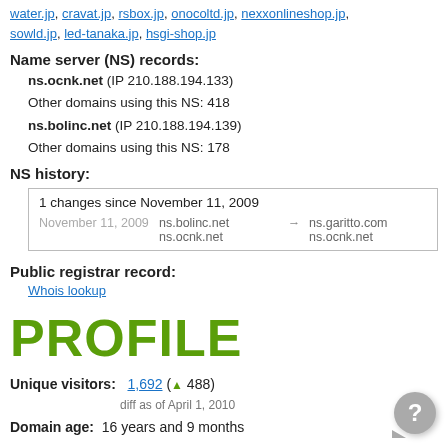water.jp, cravat.jp, rsbox.jp, onocoltd.jp, nexxonlineshop.jp, sowld.jp, led-tanaka.jp, hsgi-shop.jp
Name server (NS) records:
ns.ocnk.net (IP 210.188.194.133)
Other domains using this NS: 418
ns.bolinc.net (IP 210.188.194.139)
Other domains using this NS: 178
NS history:
| 1 changes since November 11, 2009 |
| November 11, 2009 | ns.bolinc.net
ns.ocnk.net | → | ns.garitto.com
ns.ocnk.net |
Public registrar record:
Whois lookup
PROFILE
Unique visitors: 1,692 (▲ 488)
diff as of April 1, 2010
Domain age: 16 years and 9 months
Domain worth: $64,441
Health score: 46.42%
Domain score widget: